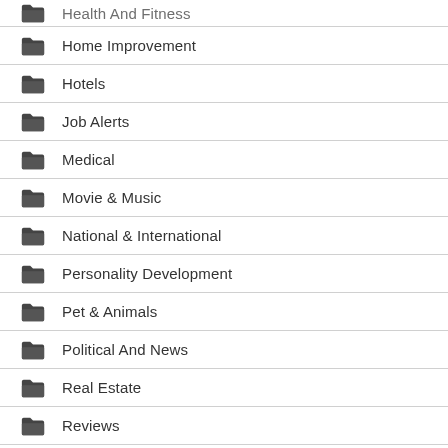Health And Fitness
Home Improvement
Hotels
Job Alerts
Medical
Movie & Music
National & International
Personality Development
Pet & Animals
Political And News
Real Estate
Reviews
Science & Technology
Services